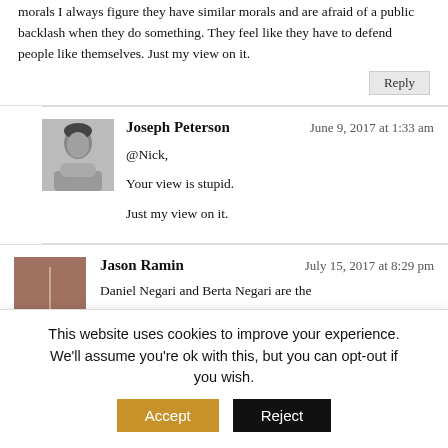morals I always figure they have similar morals and are afraid of a public backlash when they do something. They feel like they have to defend people like themselves. Just my view on it.
Reply
Joseph Peterson
June 9, 2017 at 1:33 am
@Nick,
Your view is stupid.
Just my view on it.
Jason Ramin
July 15, 2017 at 8:29 pm
Daniel Negari and Berta Negari are the
This website uses cookies to improve your experience. We'll assume you're ok with this, but you can opt-out if you wish. Accept Reject